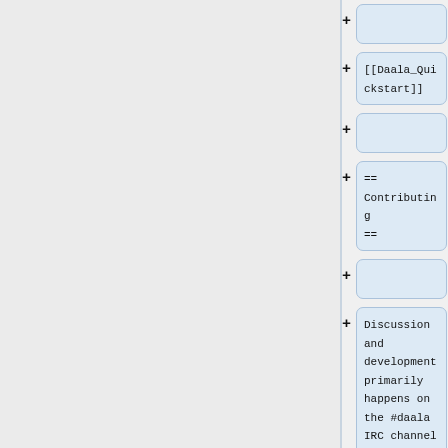[Figure (screenshot): Diff/version control view showing a right-side column with expandable card rows. Each row has a plus (+) button and a card. Cards from top: empty card, card with text '[[Daala_Quickstart]]', empty card, card with text '== Contributing ==', empty card, card with text 'Discussion and development primarily happens on the #daala IRC channel on Freenode.', partial empty card at bottom.]